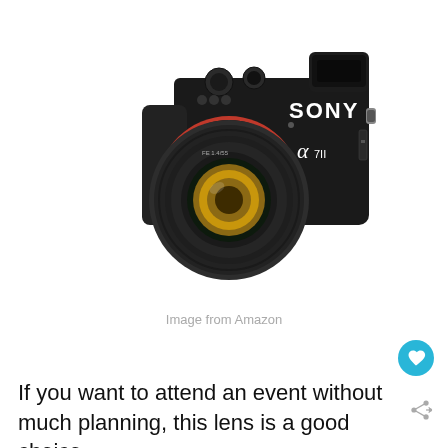[Figure (photo): Sony Alpha 7II mirrorless camera with a lens attached, black body with red accent ring around lens mount, SONY branding on top, alpha 7II label on body]
Image from Amazon
If you want to attend an event without much planning, this lens is a good choice.